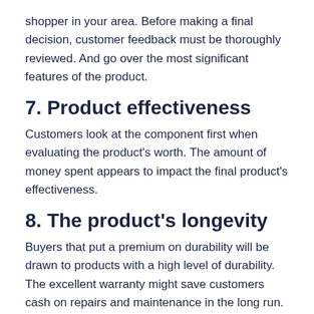shopper in your area. Before making a final decision, customer feedback must be thoroughly reviewed. And go over the most significant features of the product.
7. Product effectiveness
Customers look at the component first when evaluating the product's worth. The amount of money spent appears to impact the final product's effectiveness.
8. The product's longevity
Buyers that put a premium on durability will be drawn to products with a high level of durability. The excellent warranty might save customers cash on repairs and maintenance in the long run.
When new information becomes available, Best